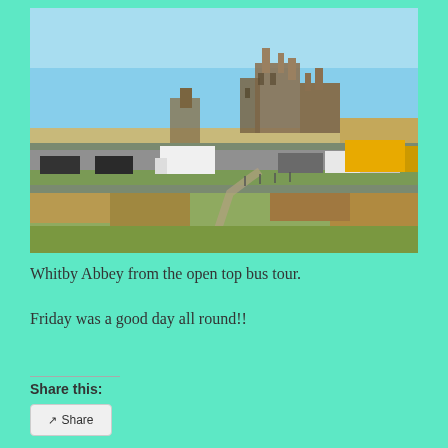[Figure (photo): Outdoor photograph of Whitby Abbey ruins on a hilltop with a clear blue sky. In the foreground are green and dry grass fields with a footpath. In the middle ground is a car park with various vehicles including cars, a white motorhome, and a yellow truck. The Gothic ruins of Whitby Abbey are visible on the horizon.]
Whitby Abbey from the open top bus tour.
Friday was a good day all round!!
Share this: